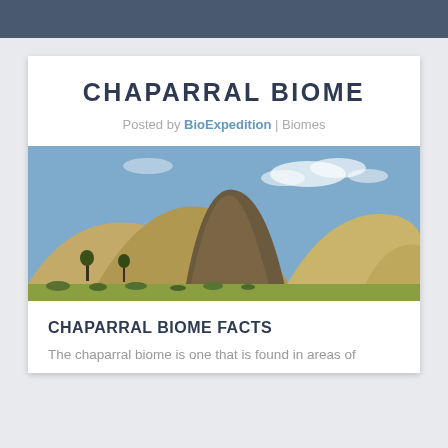CHAPARRAL BIOME
Posted by BioExpedition | Biomes
[Figure (photo): Landscape photo of rolling golden-brown hills under a blue sky with scattered low green shrubs in the foreground — chaparral biome scenery]
CHAPARRAL BIOME FACTS
The chaparral biome is one that is found in areas of